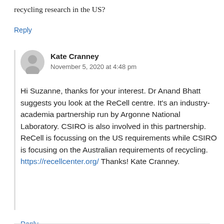recycling research in the US?
Reply
Kate Cranney
November 5, 2020 at 4:48 pm
Hi Suzanne, thanks for your interest. Dr Anand Bhatt suggests you look at the ReCell centre. It's an industry-academia partnership run by Argonne National Laboratory. CSIRO is also involved in this partnership. ReCell is focussing on the US requirements while CSIRO is focusing on the Australian requirements of recycling. https://recellcenter.org/ Thanks! Kate Cranney.
Reply